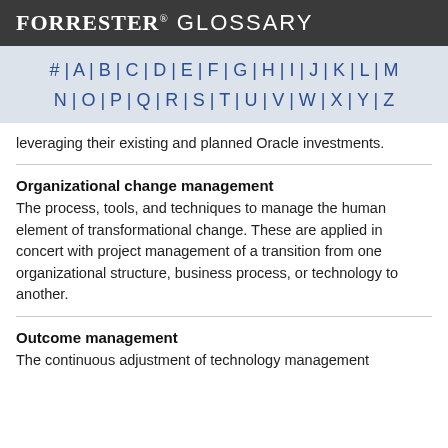FORRESTER® GLOSSARY
# | A | B | C | D | E | F | G | H | I | J | K | L | M | N | O | P | Q | R | S | T | U | V | W | X | Y | Z
leveraging their existing and planned Oracle investments.
Organizational change management
The process, tools, and techniques to manage the human element of transformational change. These are applied in concert with project management of a transition from one organizational structure, business process, or technology to another.
Outcome management
The continuous adjustment of technology management